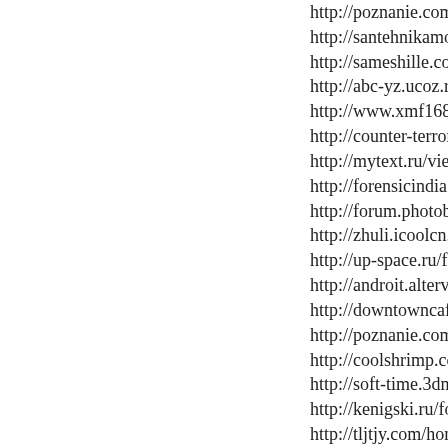http://poznanie.com.ua/forum/forum4/topic1517...
http://santehnikamoskva.ru/products/rakovina-ce...
http://sameshille.com/index/8-42251
http://abc-yz.ucoz.ru/forum/14-538-1#1468
http://www.xmf168.com/home.php?mod=space&...
http://counter-terror.kz/ru/article/view?id=3586
http://mytext.ru/view_story.php
http://forensicindia.com/mboard/mboard.php
http://forum.photoblogs.ru/user/TRAVELlum/
http://zhuli.icoolcn.com/home.php?mod=space&...
http://up-space.ru/forum/viewtopic.php?f=23&t=...
http://androit.altervista.org/blog/recensione-realca...
http://downtowncafe.re/dj-m-rick/comment-page-...
http://poznanie.com.ua/forum/forum4/topic15174...
http://coolshrimp.com/home.php?mod=space&ui...
http://soft-time.3dn.ru/index/8-930
http://kenigski.ru/forum/memberlist.php?mode=v...
http://tljtjy.com/home.php?mod=space&uid=3788...
http://bestaqua.com.ua/blog/ochistiteli-vody-drug...